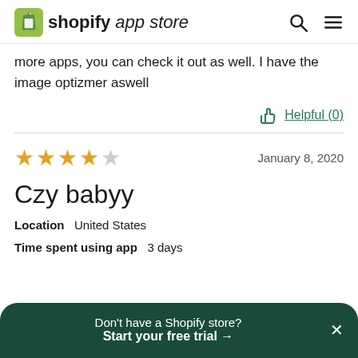shopify app store
more apps, you can check it out as well. I have the image optizmer aswell
Helpful (0)
4 stars — January 8, 2020
Czy babyy
Location   United States
Time spent using app   3 days
Don't have a Shopify store? Start your free trial →